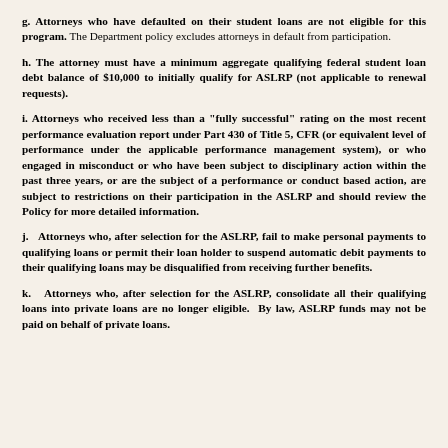g. Attorneys who have defaulted on their student loans are not eligible for this program. The Department policy excludes attorneys in default from participation.
h. The attorney must have a minimum aggregate qualifying federal student loan debt balance of $10,000 to initially qualify for ASLRP (not applicable to renewal requests).
i. Attorneys who received less than a "fully successful" rating on the most recent performance evaluation report under Part 430 of Title 5, CFR (or equivalent level of performance under the applicable performance management system), or who engaged in misconduct or who have been subject to disciplinary action within the past three years, or are the subject of a performance or conduct based action, are subject to restrictions on their participation in the ASLRP and should review the Policy for more detailed information.
j. Attorneys who, after selection for the ASLRP, fail to make personal payments to qualifying loans or permit their loan holder to suspend automatic debit payments to their qualifying loans may be disqualified from receiving further benefits.
k. Attorneys who, after selection for the ASLRP, consolidate all their qualifying loans into private loans are no longer eligible. By law, ASLRP funds may not be paid on behalf of private loans.